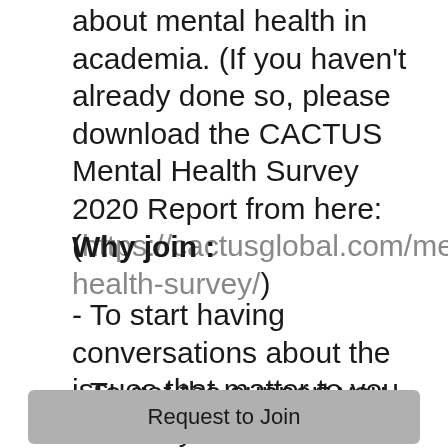about mental health in academia. (If you haven't already done so, please download the CACTUS Mental Health Survey 2020 Report from here: (https://cactusglobal.com/mental-health-survey/)
Why join :
- To start having conversations about the issues that matter to you as a researcher
- To get the support you need in your academic journey
Request to Join